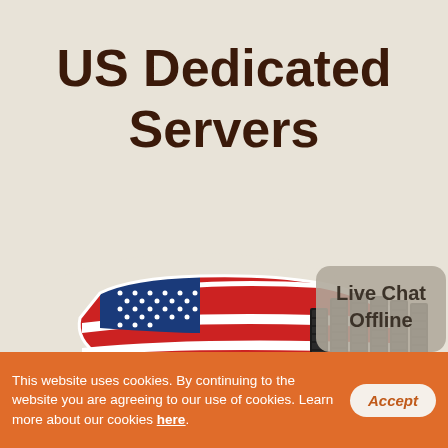US Dedicated Servers
[Figure (illustration): Illustration of a USA map with American flag design overlaid, with a row of black server rack towers in front of it, on a beige background. A speech bubble overlay in the bottom-right reads 'Live Chat Offline'.]
This website uses cookies. By continuing to the website you are agreeing to our use of cookies. Learn more about our cookies here.